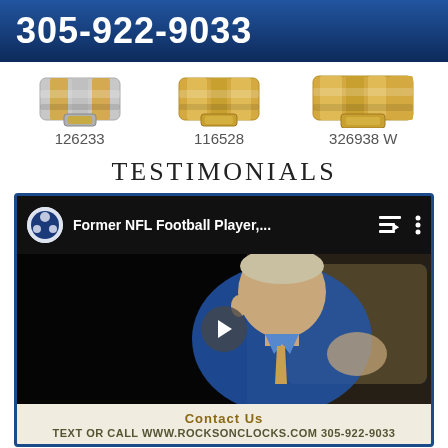305-922-9033
[Figure (photo): Three watch bracelets: silver/gold two-tone (126233), all gold (116528), all gold wider (326938 W)]
126233
116528
326938 W
TESTIMONIALS
[Figure (screenshot): YouTube video player showing Former NFL Football Player testimonial video with a man in a blue shirt speaking in a car]
Contact Us
Text or call www.rocksonclocks.com 305-922-9033